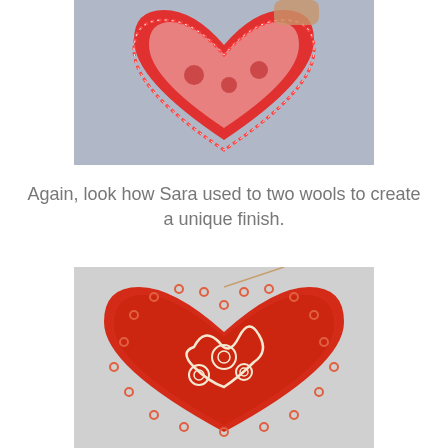[Figure (photo): A red heart-shaped rug hooking craft piece with pink and red floral designs, held by a hand against a light blue-grey background. The edge has a distinctive red and white border pattern.]
Again, look how Sara used to two wools to create a unique finish.
[Figure (photo): A red heart-shaped rug hooking wall hanging with cream/white floral and swirl designs on a bright red textured background. The edge is decorated with small loop/curl embellishments.]